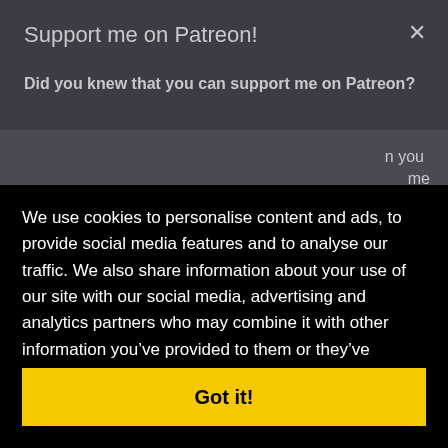Support me on Patreon!
Did you knew that you can support me on Patreon?
We use cookies to personalise content and ads, to provide social media features and to analyse our traffic. We also share information about your use of our site with our social media, advertising and analytics partners who may combine it with other information you’ve provided to them or they’ve collected from your use of their services. Learn more
Got it!
Donate